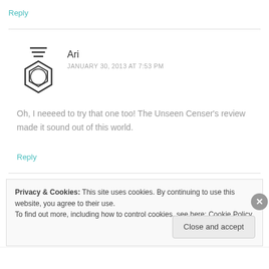Reply
[Figure (illustration): Benzene ring / chemistry avatar icon with three horizontal lines above it]
Ari
JANUARY 30, 2013 AT 7:53 PM
Oh, I neeeed to try that one too! The Unseen Censer's review made it sound out of this world.
Reply
Privacy & Cookies: This site uses cookies. By continuing to use this website, you agree to their use.
To find out more, including how to control cookies, see here: Cookie Policy
Close and accept